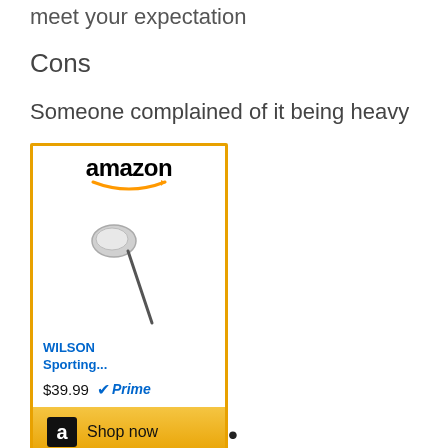meet your expectation
Cons
Someone complained of it being heavy
[Figure (other): Amazon advertisement for WILSON Sporting... golf wedge, priced at $39.99 with Prime, with a Shop now button]
Callaway Mack Daddy 3